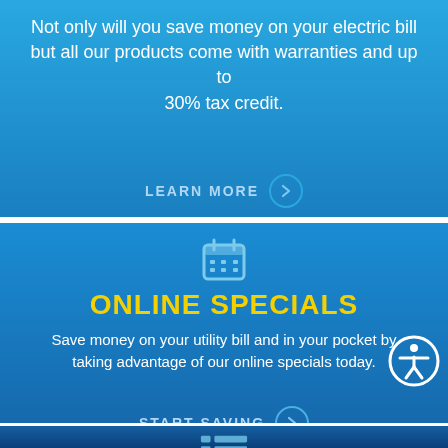Not only will you save money on your electric bill but all our products come with warranties and up to 30% tax credit.
LEARN MORE
[Figure (infographic): Calendar icon above ONLINE SPECIALS section]
ONLINE SPECIALS
Save money on your utility bill and in your pocket by taking advantage of our online specials today.
START SAVING
[Figure (infographic): List/table icon above FREE SOLAR CONSULTATION section]
FREE SOLAR CONSULTATION
Learn how going solar will save you money,